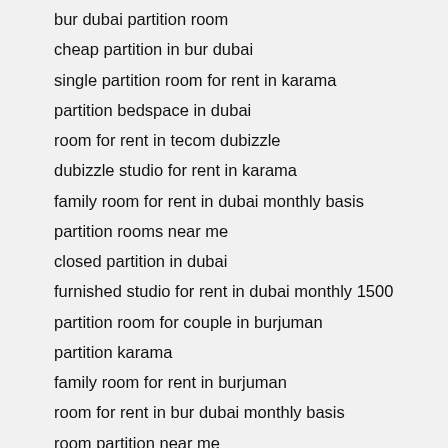bur dubai partition room
cheap partition in bur dubai
single partition room for rent in karama
partition bedspace in dubai
room for rent in tecom dubizzle
dubizzle studio for rent in karama
family room for rent in dubai monthly basis
partition rooms near me
closed partition in dubai
furnished studio for rent in dubai monthly 1500
partition room for couple in burjuman
partition karama
family room for rent in burjuman
room for rent in bur dubai monthly basis
room partition near me
dubizzle silicon oasis partition
dubai partition room for rent
room for rent near burjuman station